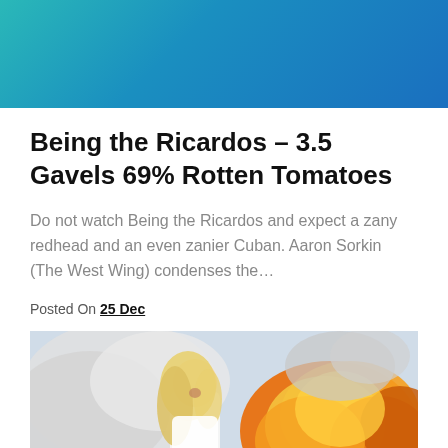[Figure (illustration): Teal and blue gradient header banner]
Being the Ricardos – 3.5 Gavels 69% Rotten Tomatoes
Do not watch Being the Ricardos and expect a zany redhead and an even zanier Cuban. Aaron Sorkin (The West Wing) condenses the…
Posted On 25 Dec
[Figure (photo): A blonde woman in white clothing with a large fire/explosion behind her against a light sky background]